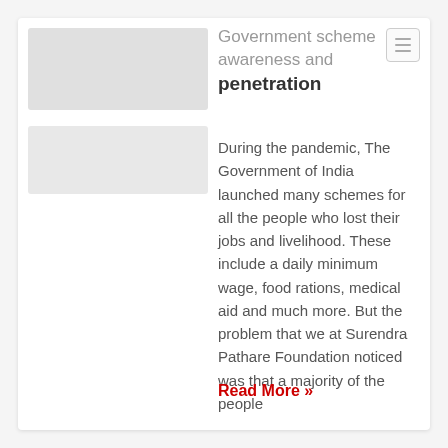[Figure (photo): Two placeholder image blocks on the left side of the card]
Government scheme awareness and penetration
During the pandemic, The Government of India launched many schemes for all the people who lost their jobs and livelihood. These include a daily minimum wage, food rations, medical aid and much more. But the problem that we at Surendra Pathare Foundation noticed was that a majority of the people
Read More »